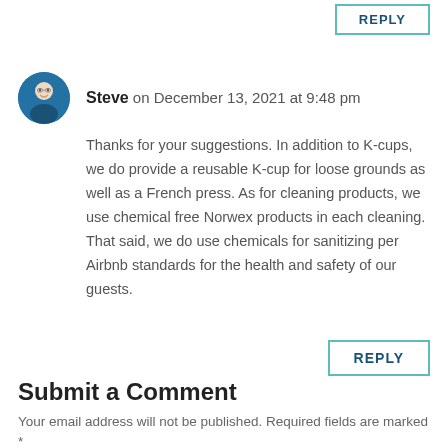REPLY
Steve on December 13, 2021 at 9:48 pm
Thanks for your suggestions. In addition to K-cups, we do provide a reusable K-cup for loose grounds as well as a French press. As for cleaning products, we use chemical free Norwex products in each cleaning. That said, we do use chemicals for sanitizing per Airbnb standards for the health and safety of our guests.
REPLY
Submit a Comment
Your email address will not be published. Required fields are marked *